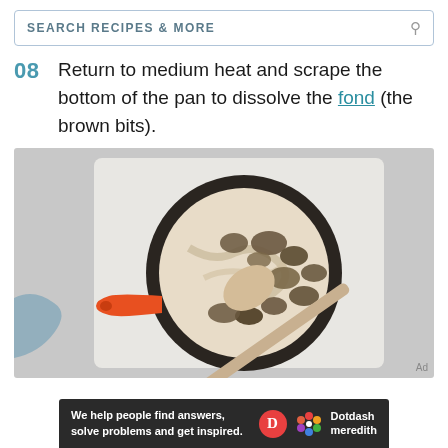SEARCH RECIPES & MORE
08  Return to medium heat and scrape the bottom of the pan to dissolve the fond (the brown bits).
[Figure (photo): Overhead view of a dark cast iron skillet with an orange handle on a gray cutting board, containing mushrooms and beef being stirred with a wooden spoon, with a blue cloth visible in the background.]
We help people find answers, solve problems and get inspired.